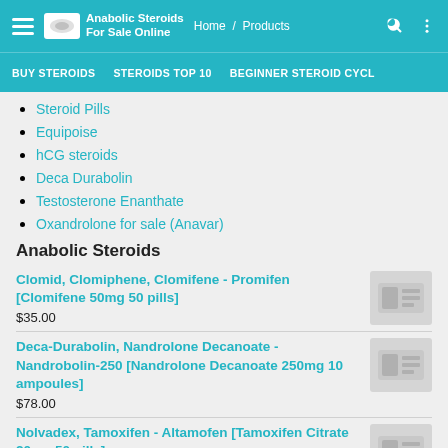Anabolic Steroids For Sale Online — Home / Products
BUY STEROIDS | STEROIDS TOP 10 | BEGINNER STEROID CYCL
Steroid Pills
Equipoise
hCG steroids
Deca Durabolin
Testosterone Enanthate
Oxandrolone for sale (Anavar)
Anabolic Steroids
Clomid, Clomiphene, Clomifene - Promifen [Clomifene 50mg 50 pills]
$35.00
Deca-Durabolin, Nandrolone Decanoate - Nandrobolin-250 [Nandrolone Decanoate 250mg 10 ampoules]
$78.00
Nolvadex, Tamoxifen - Altamofen [Tamoxifen Citrate 20mg 50 pills]